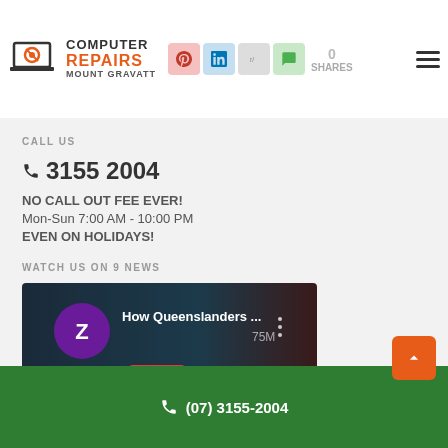[Figure (logo): Computer Repairs Mount Gravatt logo with gear/laptop icon and social share buttons (Pinterest, LinkedIn, Reddit, Chat). Share count: 0 SHARES. Hamburger menu icon top right.]
CALL US
📞 3155 2004
NO CALL OUT FEE EVER!
Mon-Sun 7:00 AM - 10:00 PM
EVEN ON HOLIDAYS!
WATCH US ON 9 NEWS
[Figure (screenshot): YouTube video thumbnail showing 'How Queenslanders ...' with a purple Z avatar icon, dark background with 75M text visible. Green play button overlay partially visible at bottom.]
(07) 3155-2004